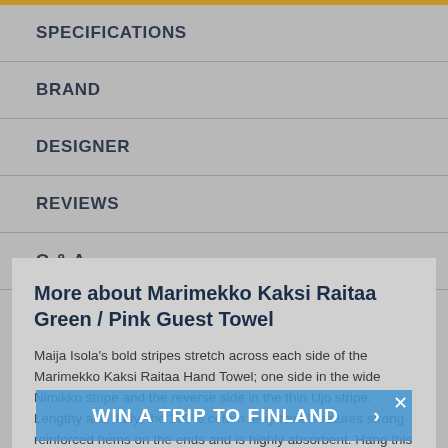SPECIFICATIONS
BRAND
DESIGNER
REVIEWS
Q & A
More about Marimekko Kaksi Raitaa Green / Pink Guest Towel
Maija Isola's bold stripes stretch across each side of the Marimekko Kaksi Raitaa Hand Towel; one side in the wide Nimikko stripe and the reverse side in the thin Ujo stripe. Lengthy and fluffy, the 100% cotton terry towel features strong reinforced hems on the ends and is highly absorbent. Hang this absorbent
WIN A TRIP TO FINLAND